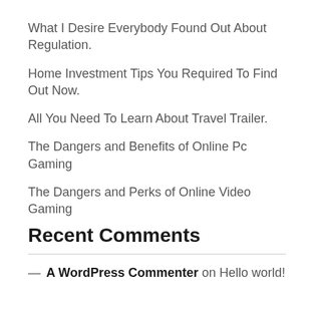What I Desire Everybody Found Out About Regulation.
Home Investment Tips You Required To Find Out Now.
All You Need To Learn About Travel Trailer.
The Dangers and Benefits of Online Pc Gaming
The Dangers and Perks of Online Video Gaming
Recent Comments
— A WordPress Commenter on Hello world!